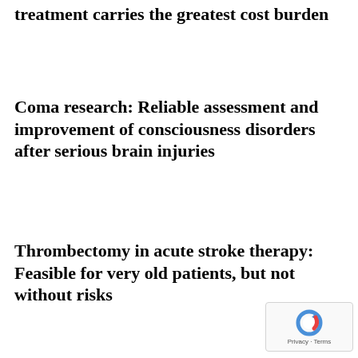treatment carries the greatest cost burden
Coma research: Reliable assessment and improvement of consciousness disorders after serious brain injuries
Thrombectomy in acute stroke therapy: Feasible for very old patients, but not without risks
[Figure (logo): Google reCAPTCHA badge with privacy and terms link]